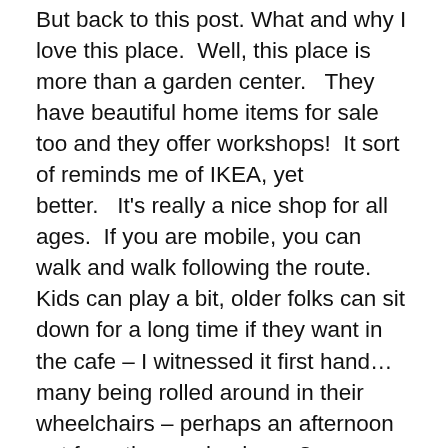But back to this post. What and why I love this place. Well, this place is more than a garden center. They have beautiful home items for sale too and they offer workshops! It sort of reminds me of IKEA, yet better. It's really a nice shop for all ages. If you are mobile, you can walk and walk following the route. Kids can play a bit, older folks can sit down for a long time if they want in the cafe – I witnessed it first hand… many being rolled around in their wheelchairs – perhaps an afternoon out from the nursing home?
Intratuin is a great place to visit any time a year and they update their site and store based on seasons. At Christmas time they really have the place decorated and there is a walk you can do through the store with lights, music, decor – a